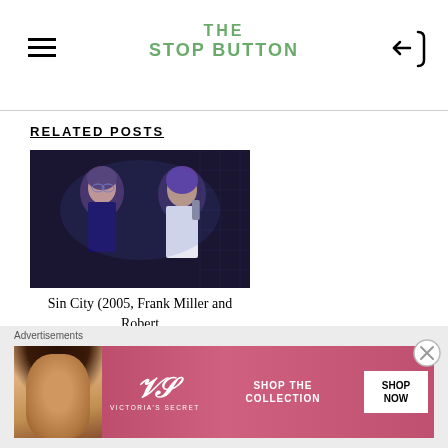THE STOP BUTTON
RELATED POSTS
[Figure (photo): Movie still from Sin City (2005) showing two figures in a dark blue-toned scene]
Sin City (2005, Frank Miller and Robert
Bottle Shock (2008, Randall Miller)
Advertisements
[Figure (photo): Victoria's Secret advertisement banner: Shop the Collection - Shop Now]